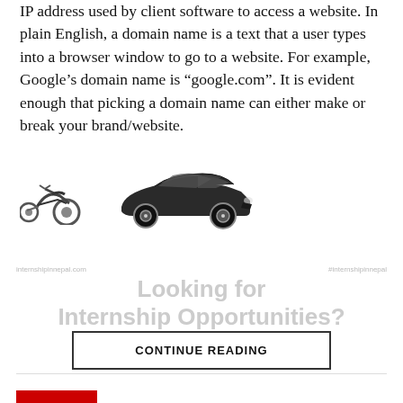IP address used by client software to access a website. In plain English, a domain name is a text that a user types into a browser window to go to a website. For example, Google's domain name is “google.com”. It is evident enough that picking a domain name can either make or break your brand/website.
[Figure (illustration): Two vehicle illustrations: a partial motorcycle on the left and a dark sedan car on the right]
[Figure (infographic): Advertisement banner for internshipinnepal.com with text 'Looking for Internship Opportunities?' in light gray]
CONTINUE READING